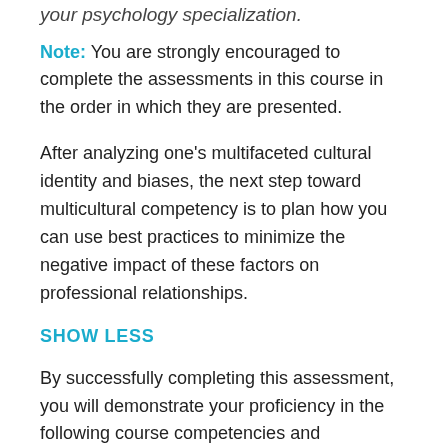your psychology specialization.
Note: You are strongly encouraged to complete the assessments in this course in the order in which they are presented.
After analyzing one’s multifaceted cultural identity and biases, the next step toward multicultural competency is to plan how you can use best practices to minimize the negative impact of these factors on professional relationships.
SHOW LESS
By successfully completing this assessment, you will demonstrate your proficiency in the following course competencies and assessment criteria:
Competency 3: Evaluate multicultural influences on ethics for psychologists.
Case Overview: Create a scenario (based on